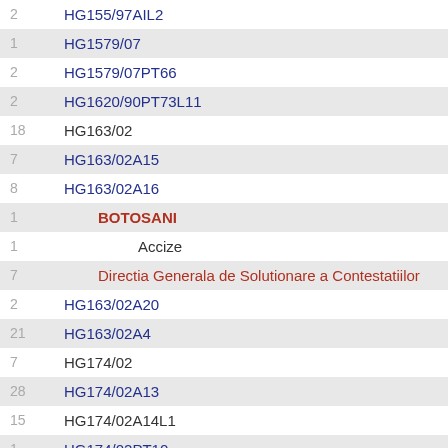| Count | Code/Name |
| --- | --- |
| 2 | HG155/97AIL2 |
| 1 | HG1579/07 |
| 2 | HG1579/07PT66 |
| 2 | HG1620/90PT73L11 |
| 18 | HG163/02 |
| 7 | HG163/02A15 |
| 8 | HG163/02A16 |
| 1 | BOTOSANI |
| 1 | Accize |
| 7 | Directia Generala de Solutionare a Contestatiilor |
| 2 | HG163/02A20 |
| 21 | HG163/02A4 |
| 7 | HG174/02 |
| 28 | HG174/02A13 |
| 15 | HG174/02A14L1 |
| 1 | HG174/02PT10 |
| 16 | HG1840/04 |
| 2 | HG1840/04PT30 |
| 17 | HG1850/06A1 |
| 4 | HG1850/06A2 |
| 75 | HG1861/06 |